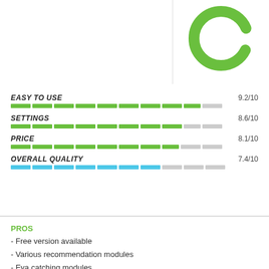[Figure (donut-chart): Partial donut chart in green, cropped at top of page]
[Figure (infographic): Rating bars: Easy to Use 9.2/10 green, Settings 8.6/10 green, Price 8.1/10 green, Overall Quality 7.4/10 blue]
PROS
- Free version available
- Various recommendation modules
- Eya catching modules
- Very easy to use
CONS